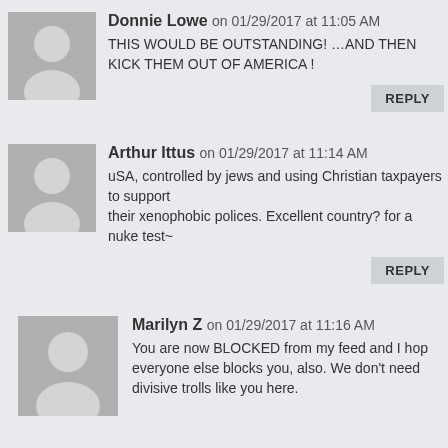Donnie Lowe on 01/29/2017 at 11:05 AM — THIS WOULD BE OUTSTANDING! …AND THEN KICK THEM OUT OF AMERICA !
Arthur Ittus on 01/29/2017 at 11:14 AM — uSA, controlled by jews and using Christian taxpayers to support their xenophobic polices. Excellent country? for a nuke test~
Marilyn Z on 01/29/2017 at 11:16 AM — You are now BLOCKED from my feed and I hope everyone else blocks you, also. We don't need divisive trolls like you here.